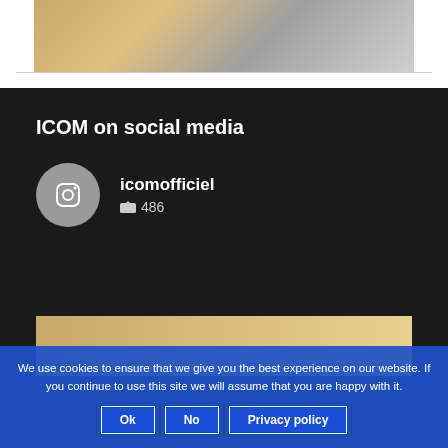[Figure (photo): Partial photo visible at top of page, people in colorful clothing]
ICOM on social media
icomofficiel
486
[Figure (photo): Partial photo visible at bottom of dark section]
We use cookies to ensure that we give you the best experience on our website. If you continue to use this site we will assume that you are happy with it.
Ok
No
Privacy policy